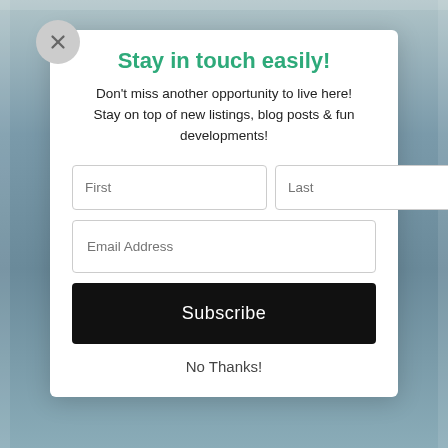Stay in touch easily!
Don't miss another opportunity to live here! Stay on top of new listings, blog posts & fun developments!
[Figure (screenshot): Subscription modal form with First and Last name fields, Email Address field, Subscribe button, and No Thanks link]
No Thanks!